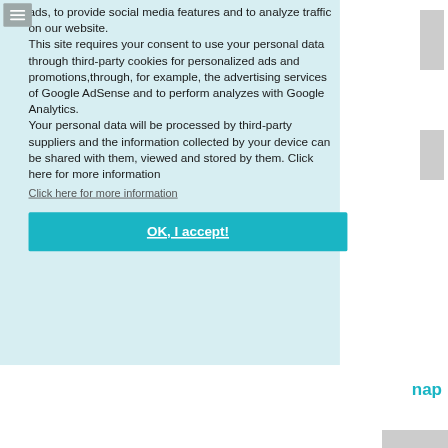ads, to provide social media features and to analyze traffic on our website. This site requires your consent to use your personal data through third-party cookies for personalized ads and promotions,through, for example, the advertising services of Google AdSense and to perform analyzes with Google Analytics. Your personal data will be processed by third-party suppliers and the information collected by your device can be shared with them, viewed and stored by them. Click here for more information
Click here for more information
OK, I accept!